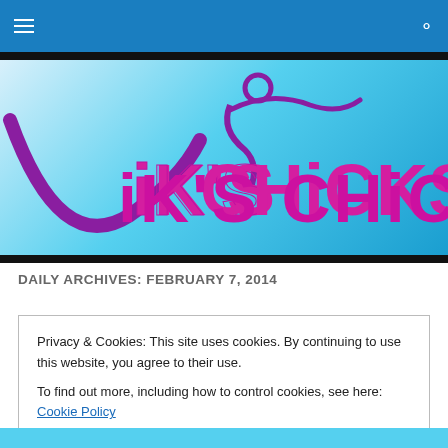Nik's Chicks – navigation bar with hamburger menu and search icon
[Figure (logo): Nik's Chicks website banner logo: stylized purple figure and 'Nik's Chicks' text in magenta/purple on a light blue gradient background]
DAILY ARCHIVES: FEBRUARY 7, 2014
Privacy & Cookies: This site uses cookies. By continuing to use this website, you agree to their use.
To find out more, including how to control cookies, see here: Cookie Policy
[Close and accept button]